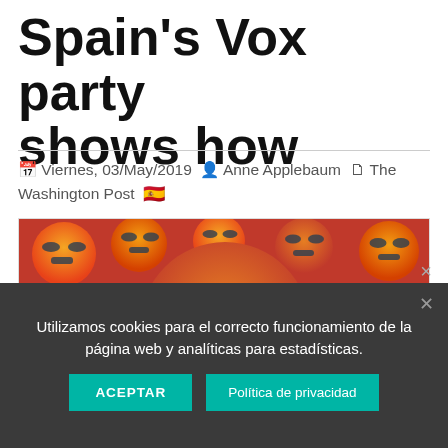Spain's Vox party shows how
Viernes, 03/May/2019  Anne Applebaum  The Washington Post 🇪🇸
[Figure (illustration): A cluster of angry face emojis in orange and red tones, with a large angry emoji in the center surrounded by smaller angry emojis.]
Utilizamos cookies para el correcto funcionamiento de la página web y analíticas para estadísticas.
ACEPTAR   Política de privacidad